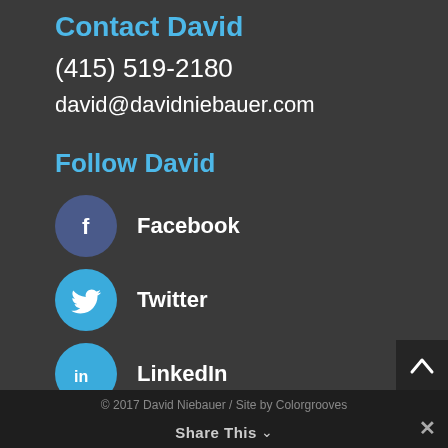Contact David
(415) 519-2180
david@davidniebauer.com
Follow David
Facebook
Twitter
LinkedIn
© 2017 David Niebauer / Site by Colorgrooves
Share This